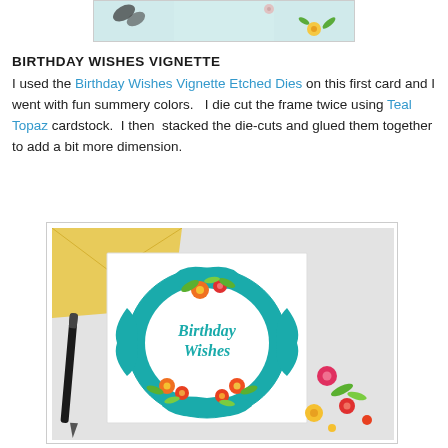[Figure (photo): Partial top image showing craft card with floral elements on teal/light blue background]
BIRTHDAY WISHES VIGNETTE
I used the Birthday Wishes Vignette Etched Dies on this first card and I went with fun summery colors.   I die cut the frame twice using Teal Topaz cardstock.  I then  stacked the die-cuts and glued them together to add a bit more dimension.
[Figure (photo): Photo of a birthday card featuring a teal die-cut Birthday Wishes Vignette frame with colorful flowers in orange, red, yellow and green on a white card, placed on a light gray surface next to a yellow envelope and a black pen]